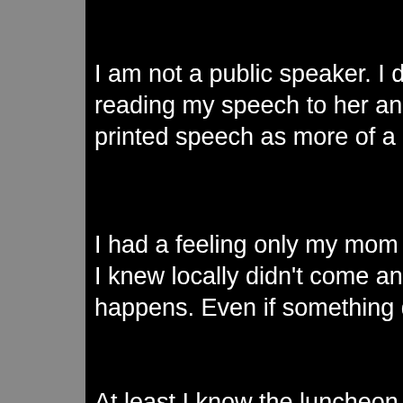I am not a public speaker. I didn't want to forge reading my speech to her and gave me a poin printed speech as more of a guide. I'll do that n
I had a feeling only my mom and MJ would be I knew locally didn't come and that the library c happens. Even if something doesn't turn out, w
At least I know the luncheon in January guaran
I am doing something next month, though, a lo which will be MJ! So far, I haven't had luck sell RIGHT?!